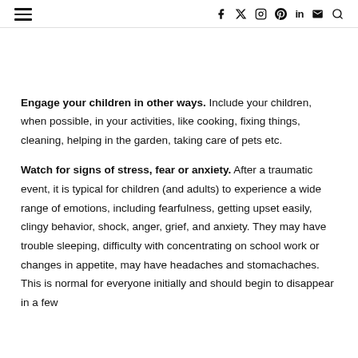≡   f  𝕏  ⊙  ⊕  in  ✉  🔍
Engage your children in other ways. Include your children, when possible, in your activities, like cooking, fixing things, cleaning, helping in the garden, taking care of pets etc.
Watch for signs of stress, fear or anxiety. After a traumatic event, it is typical for children (and adults) to experience a wide range of emotions, including fearfulness, getting upset easily, clingy behavior, shock, anger, grief, and anxiety. They may have trouble sleeping, difficulty with concentrating on school work or changes in appetite, may have headaches and stomachaches. This is normal for everyone initially and should begin to disappear in a few